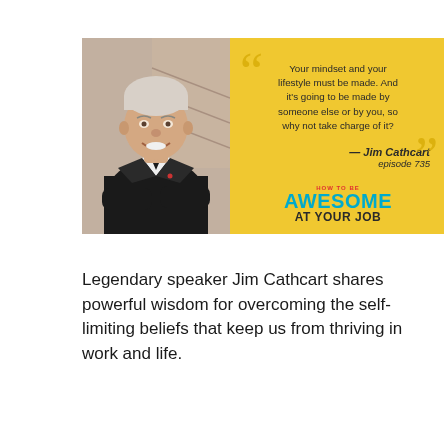[Figure (photo): Promotional card for 'How to be Awesome at Your Job' podcast episode 735 featuring Jim Cathcart. Left half shows a photo of an older man with white hair in a dark suit smiling with arms crossed. Right half has yellow background with quote: 'Your mindset and your lifestyle must be made. And it's going to be made by someone else or by you, so why not take charge of it?' attributed to Jim Cathcart, episode 735, with 'HOW TO BE AWESOME AT YOUR JOB' branding in teal/blue.]
Legendary speaker Jim Cathcart shares powerful wisdom for overcoming the self-limiting beliefs that keep us from thriving in work and life.